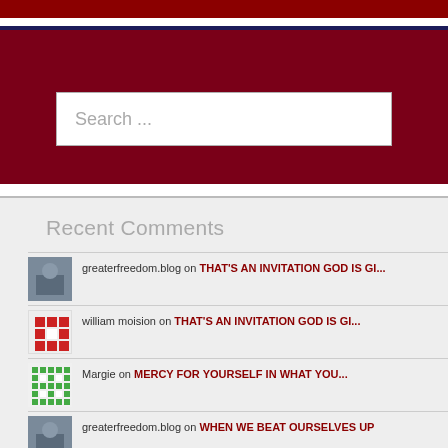[Figure (screenshot): Dark red top navigation bar]
[Figure (screenshot): Search bar widget with dark red/crimson background and white search input field containing placeholder text 'Search ...']
Recent Comments
greaterfreedom.blog on THAT'S AN INVITATION GOD IS GI...
william moision on THAT'S AN INVITATION GOD IS GI...
Margie on MERCY FOR YOURSELF IN WHAT YOU...
greaterfreedom.blog on WHEN WE BEAT OURSELVES UP